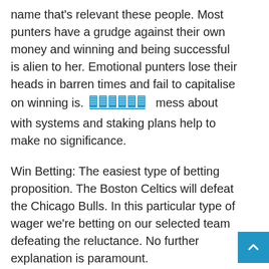name that's relevant these people. Most punters have a grudge against their own money and winning and being successful is alien to her. Emotional punters lose their heads in barren times and fail to capitalise on winning is. [icon] mess about with systems and staking plans help to make no significance.
Win Betting: The easiest type of betting proposition. The Boston Celtics will defeat the Chicago Bulls. In this particular type of wager we're betting on our selected team defeating the reluctance. No further explanation is paramount.
If you need to do get consumed by the popular sports leagues, then at least look at betting outside obscure markets on deliver you. Rather than going for the standard / match bet markets, why not look in the 'number of corners' along with